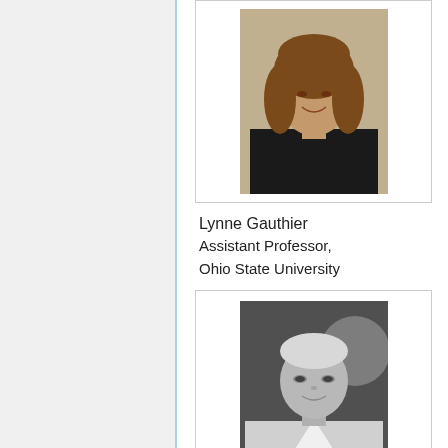[Figure (photo): Professional headshot of Lynne Gauthier, a woman with long curly brown hair wearing a black jacket, smiling, color photo with light background]
Lynne Gauthier
Assistant Professor,
Ohio State University
[Figure (photo): Headshot of Travis Gebhardt, a young man with short light hair, smiling slightly, black and white photo]
Travis Gebhardt
Director of
Engineering, KAYAK